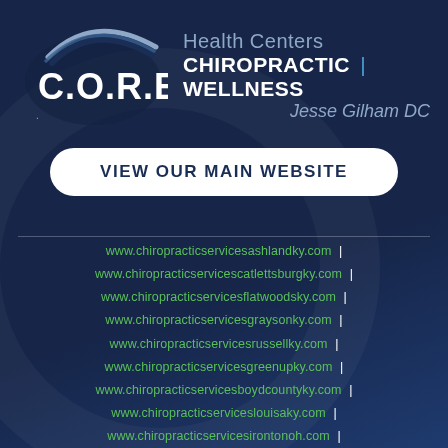[Figure (logo): C.O.R.E. Health Centers Chiropractic | Wellness logo with swoosh arc graphic and text: Health Centers, CHIROPRACTIC | WELLNESS, Jesse Gilham DC]
VIEW OUR MAIN WEBSITE
www.chiropracticservicesashlandky.com |
www.chiropracticservicescatlettsburgky.com |
www.chiropracticservicesflatwoodsky.com |
www.chiropracticservicesgraysonky.com |
www.chiropracticservicesrussellky.com |
www.chiropracticservicesgreenupky.com |
www.chiropracticservicesboydcountyky.com |
www.chiropracticserviceslouisaky.com |
www.chiropracticservicesirontonoh.com |
www.chiropracticservicescartercountyky.com |
www.chiropracticserviceslexingtonky.com |